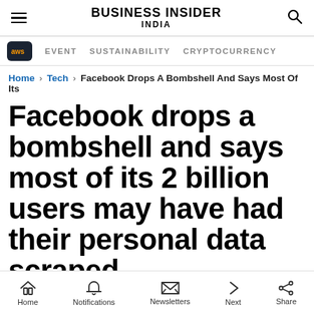BUSINESS INSIDER INDIA
EVENT   SUSTAINABILITY   CRYPTOCURRENCY
Home › Tech › Facebook Drops A Bombshell And Says Most Of Its
Facebook drops a bombshell and says most of its 2 billion users may have had their personal data scraped
Home   Notifications   Newsletters   Next   Share